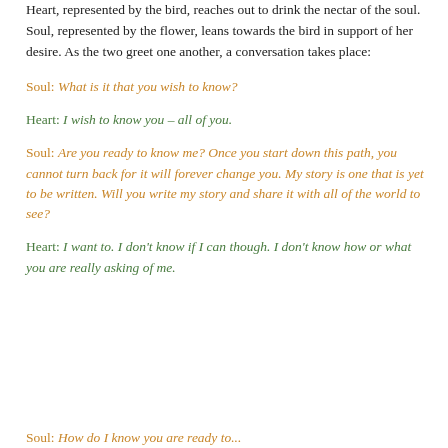Heart, represented by the bird, reaches out to drink the nectar of the soul. Soul, represented by the flower, leans towards the bird in support of her desire. As the two greet one another, a conversation takes place:
Soul: What is it that you wish to know?
Heart: I wish to know you – all of you.
Soul: Are you ready to know me? Once you start down this path, you cannot turn back for it will forever change you. My story is one that is yet to be written. Will you write my story and share it with all of the world to see?
Heart: I want to. I don't know if I can though. I don't know how or what you are really asking of me.
Soul: How do I know you are ready to...